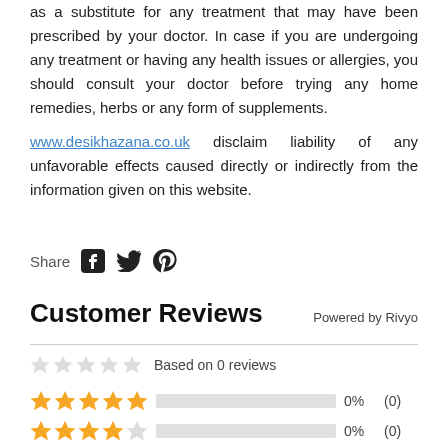as a substitute for any treatment that may have been prescribed by your doctor. In case if you are undergoing any treatment or having any health issues or allergies, you should consult your doctor before trying any home remedies, herbs or any form of supplements.
www.desikhazana.co.uk disclaim liability of any unfavorable effects caused directly or indirectly from the information given on this website.
Share
Customer Reviews
Powered by Rivyo
Based on 0 reviews
0% (0)
0% (0)